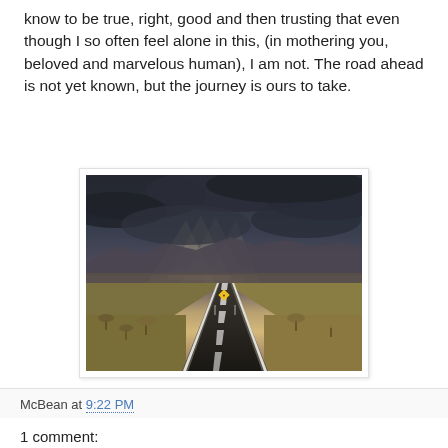know to be true, right, good and then trusting that even though I so often feel alone in this, (in mothering you, beloved and marvelous human), I am not. The road ahead is not yet known, but the journey is ours to take.
[Figure (photo): A two-lane highway stretching into the distance under a dramatic stormy sky with dark clouds and rays of light breaking through. Dry scrubland flanks both sides of the road. A yellow diamond warning sign is visible in the distance.]
McBean at 9:22 PM
1 comment: